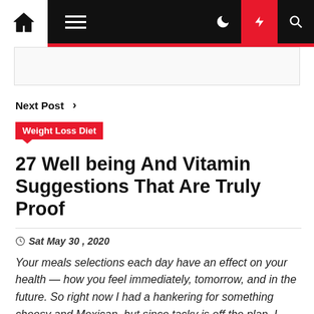[Figure (screenshot): Website navigation bar with home icon, hamburger menu, dark background, moon icon, lightning bolt icon (red background), and search icon]
Next Post >
Weight Loss Diet
27 Well being And Vitamin Suggestions That Are Truly Proof
Sat May 30 , 2020
Your meals selections each day have an effect on your health — how you feel immediately, tomorrow, and in the future. So right now I had a hankering for something cheesy and Mexican, but since tacky is off the plan, I opted for an especially healthy cheese